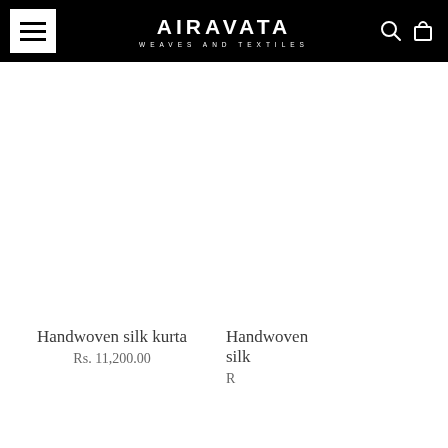AIRAVATA WEAVES AND TEXTILES
Handwoven silk kurta
Rs. 11,200.00
Handwoven silk
R